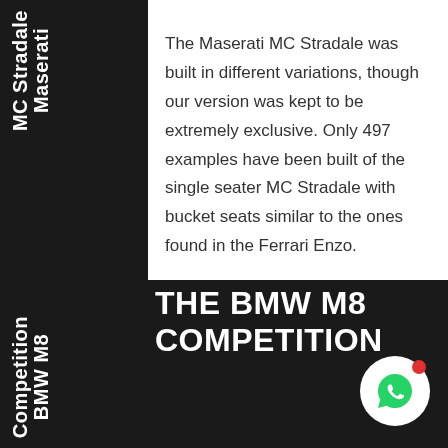Maserati
MC Stradale
The Maserati MC Stradale was built in different variations, though our version was kept to be extremely exclusive. Only 497 examples have been built of the single seater MC Stradale with bucket seats similar to the ones found in the Ferrari Enzo.
BMW M8
Competition
THE BMW M8 COMPETITION
[Figure (logo): WhatsApp icon in white circle with red notification dot]